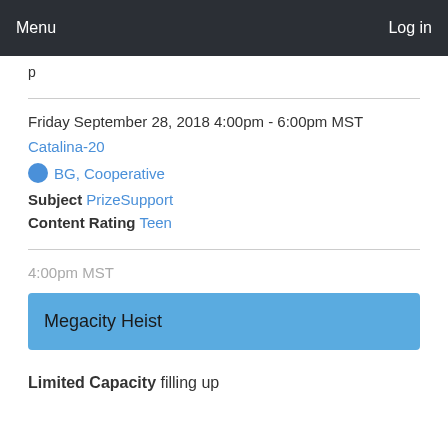Menu   Log in
Friday September 28, 2018 4:00pm - 6:00pm MST
Catalina-20
BG, Cooperative
Subject PrizeSupport
Content Rating Teen
4:00pm MST
Megacity Heist
Limited Capacity filling up